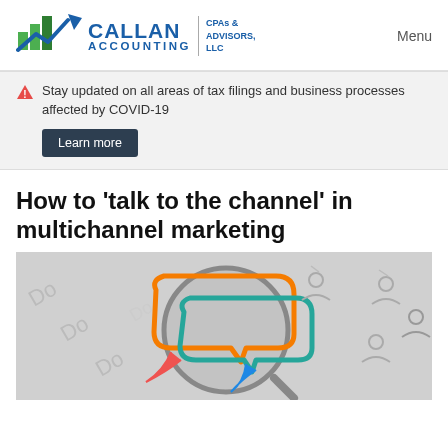[Figure (logo): Callan Accounting CPAs & Advisors LLC logo with bar chart and arrow icon]
Menu
Stay updated on all areas of tax filings and business processes affected by COVID-19
Learn more
How to 'talk to the channel' in multichannel marketing
[Figure (illustration): Multichannel marketing illustration showing colorful speech bubbles under a magnifying glass with network of person icons]